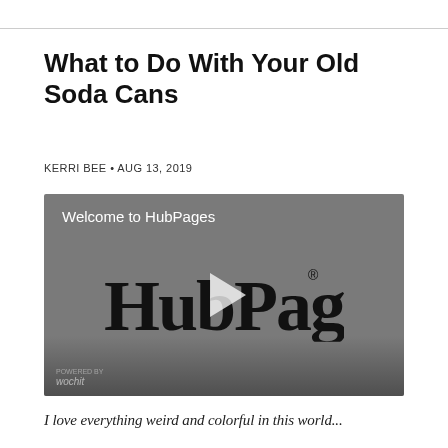What to Do With Your Old Soda Cans
KERRI BEE • AUG 13, 2019
[Figure (screenshot): Video player thumbnail showing HubPages logo with play button and 'Welcome to HubPages' title text. Powered by wochit.]
I love everything weird and colorful in this world...